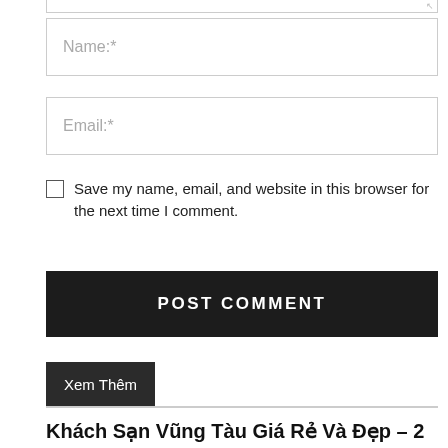Name:*
Email:*
Save my name, email, and website in this browser for the next time I comment.
POST COMMENT
Xem Thêm
Khách Sạn Vũng Tàu Giá Rẻ Và Đẹp – 2 Sao || 399k 1...
admin – July 9, 2020